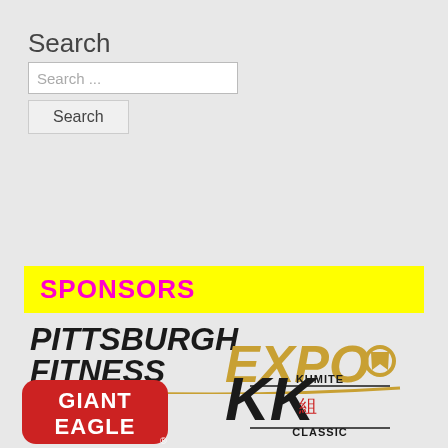Search
Search ...
Search
SPONSORS
[Figure (logo): Pittsburgh Fitness EXPO logo with gold EXPO text and swoosh]
[Figure (logo): Giant Eagle logo - red rounded rectangle with white text]
[Figure (logo): Kumite Classic logo with stylized KK letters and kanji]